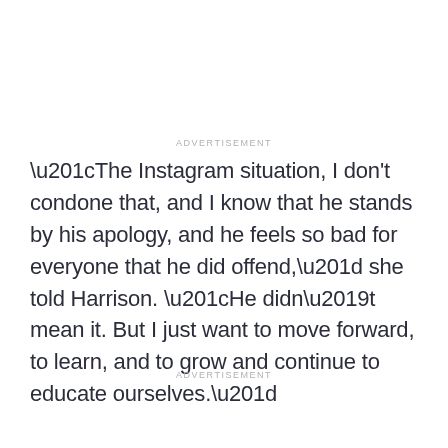ADVERTISEMENT
“The Instagram situation, I don't condone that, and I know that he stands by his apology, and he feels so bad for everyone that he did offend,” she told Harrison. “He didn’t mean it. But I just want to move forward, to learn, and to grow and continue to educate ourselves.”
ADVERTISEMENT